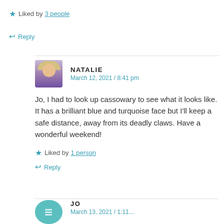★ Liked by 3 people
↩ Reply
NATALIE
March 12, 2021 / 8:41 pm
Jo, I had to look up cassowary to see what it looks like. It has a brilliant blue and turquoise face but I'll keep a safe distance, away from its deadly claws. Have a wonderful weekend!
★ Liked by 1 person
↩ Reply
JO
March 13, 2021 / 1:11...